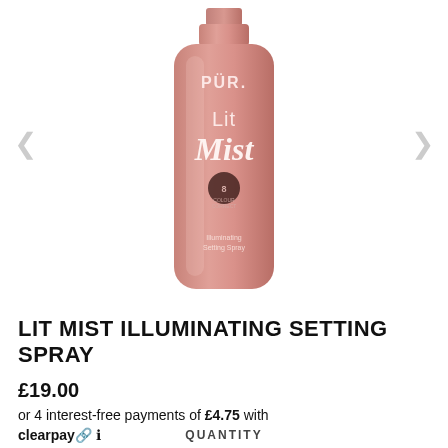[Figure (photo): PUR Lit Mist Illuminating Setting Spray product bottle. A pink/rose-gold cylindrical spray bottle with 'PUR.' at the top, 'Lit' in sans-serif and 'Mist' in cursive white lettering, a circular logo badge, and text reading 'Illuminating Setting Spray' near the bottom.]
LIT MIST ILLUMINATING SETTING SPRAY
£19.00
or 4 interest-free payments of £4.75 with clearpay ℹ
QUANTITY